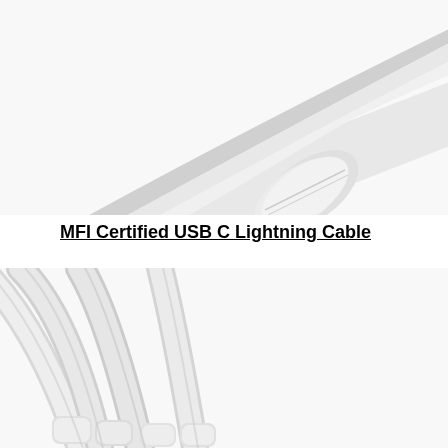[Figure (photo): Close-up photo of a white USB-C Lightning cable connector against a white background, showing the metallic USB-C plug end and the white cable body/strain relief.]
MFI Certified USB C Lightning Cable
[Figure (photo): Close-up photo of multiple white Lightning cable ends/connectors fanned out against a white background, showing the rounded tips of several cable connectors.]